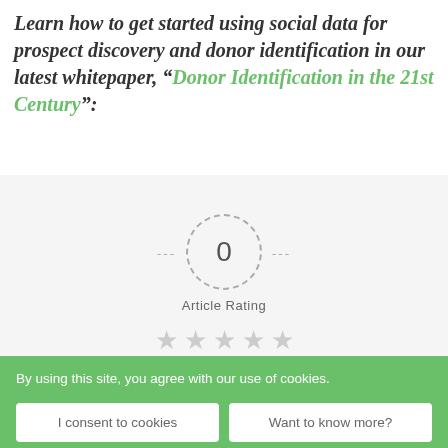Learn how to get started using social data for prospect discovery and donor identification in our latest whitepaper, “Donor Identification in the 21st Century”:
[Figure (infographic): Article rating widget showing a dashed circle with the number 0 inside, flanked by dash marks on either side, with 'Article Rating' label below and 5 empty grey stars beneath]
By using this site, you agree with our use of cookies.
I consent to cookies
Want to know more?
Privacy Policy